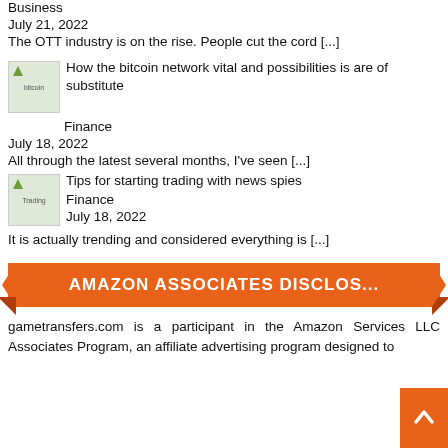Business
July 21, 2022
The OTT industry is on the rise. People cut the cord [...]
[Figure (illustration): Small thumbnail image with green triangle icon labeled 'bitcoin']
How the bitcoin network vital and possibilities is are of substitute
Finance
July 18, 2022
All through the latest several months, I've seen [...]
[Figure (illustration): Small thumbnail image with green triangle icon labeled 'Trading']
Tips for starting trading with news spies
Finance
July 18, 2022
It is actually trending and considered everything is [...]
AMAZON ASSOCIATES DISCLOS...
gametransfers.com is a participant in the Amazon Services LLC Associates Program, an affiliate advertising program designed to